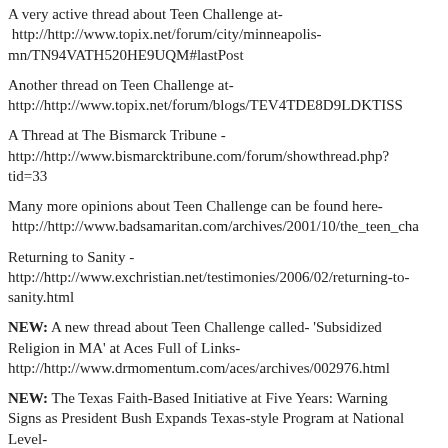A very active thread about Teen Challenge at- http://http://www.topix.net/forum/city/minneapolis-mn/TN94VATH520HE9UQM#lastPost
Another thread on Teen Challenge at- http://http://www.topix.net/forum/blogs/TEV4TDE8D9LDKTISS
A Thread at The Bismarck Tribune - http://http://www.bismarcktribune.com/forum/showthread.php?tid=33
Many more opinions about Teen Challenge can be found here- http://http://www.badsamaritan.com/archives/2001/10/the_teen_cha
Returning to Sanity - http://http://www.exchristian.net/testimonies/2006/02/returning-to-sanity.html
NEW: A new thread about Teen Challenge called- 'Subsidized Religion in MA' at Aces Full of Links- http://http://www.drmomentum.com/aces/archives/002976.html
NEW: The Texas Faith-Based Initiative at Five Years: Warning Signs as President Bush Expands Texas-style Program at National Level- http://http://www.someurl.com/file/b/TENU1234RENUBTREST